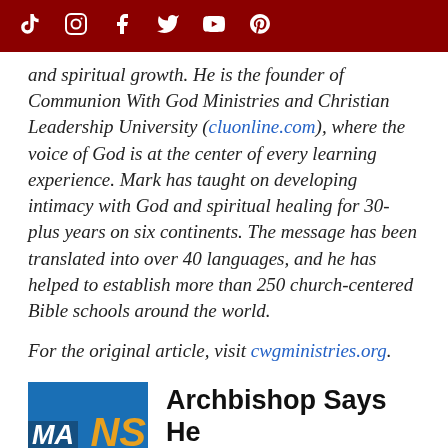TikTok Instagram Facebook Twitter YouTube Pinterest
and spiritual growth. He is the founder of Communion With God Ministries and Christian Leadership University (cluonline.com), where the voice of God is at the center of every learning experience. Mark has taught on developing intimacy with God and spiritual healing for 30-plus years on six continents. The message has been translated into over 40 languages, and he has helped to establish more than 250 church-centered Bible schools around the world.
For the original article, visit cwgministries.org.
[Figure (other): Thumbnail image with letters MA and NS on blue background]
Archbishop Says He